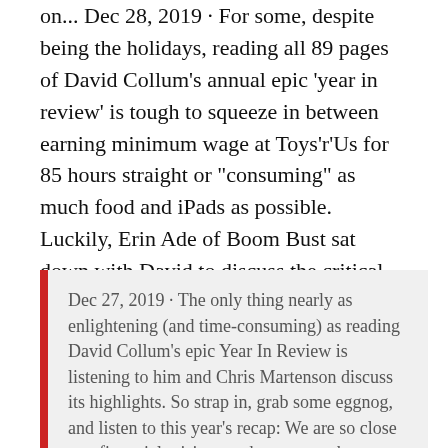on... Dec 28, 2019 · For some, despite being the holidays, reading all 89 pages of David Collum's annual epic 'year in review' is tough to squeeze in between earning minimum wage at Toys'r'Us for 85 hours straight or "consuming" as much food and iPads as possible. Luckily, Erin Ade of Boom Bust sat down with David to discuss the critical aspects of his voluminous tome.
Dec 27, 2019 · The only thing nearly as enlightening (and time-consuming) as reading David Collum's epic Year In Review is listening to him and Chris Martenson discuss its highlights. So strap in, grab some eggnog, and listen to this year's recap: We are so close to a financial crisis now that we may be way, way past the fail-safe. We've got all these unfunded liabilities that we have to pay or face Dec 22, 2019 · Once a year, Collum